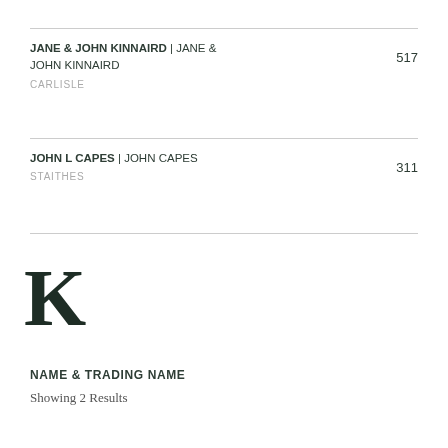JANE & JOHN KINNAIRD | JANE & JOHN KINNAIRD
CARLISLE
517
JOHN L CAPES | JOHN CAPES
STAITHES
311
[Figure (illustration): Large serif capital letter K in dark green/black]
NAME & TRADING NAME
Showing 2 Results